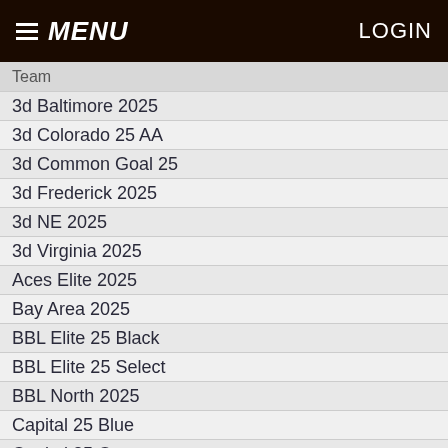MENU  LOGIN
Team
3d Baltimore 2025
3d Colorado 25 AA
3d Common Goal 25
3d Frederick 2025
3d NE 2025
3d Virginia 2025
Aces Elite 2025
Bay Area 2025
BBL Elite 25 Black
BBL Elite 25 Select
BBL North 2025
Capital 25 Blue
Capital 25 Orange